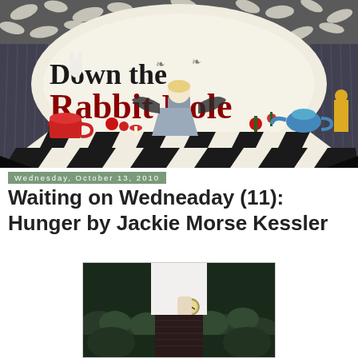[Figure (illustration): Down the Rabbit Hole blog banner — decorative header image with Alice in Wonderland theme. Features dark checkered floor, central fairy-like figure (Alice), red teacup on left, flowers, mushrooms, ornate leaf patterns at top, dark curtains on sides, and the blog title 'Down the Rabbit Hole' in stylized text with 'Rabbit Hole' in dark red/maroon.]
Wednesday, October 13, 2010
Waiting on Wedneaday (11): Hunger by Jackie Morse Kessler
[Figure (photo): Partial photo of a girl in a white dress holding a clock, with dark foliage/ivy in the background. The image is cropped, showing mainly the midsection and lower portion.]